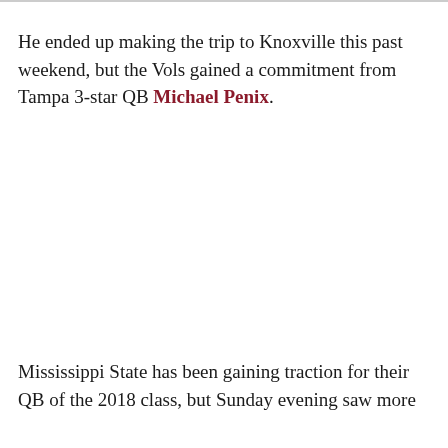He ended up making the trip to Knoxville this past weekend, but the Vols gained a commitment from Tampa 3-star QB Michael Penix.
Mississippi State has been gaining traction for their QB of the 2018 class, but Sunday evening saw more